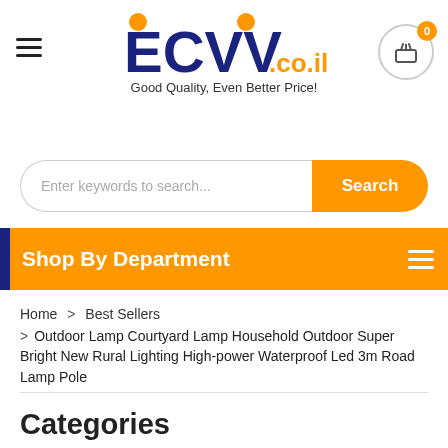[Figure (logo): ECVV.co.il logo with orange dots above letters and tagline 'Good Quality, Even Better Price!']
Enter keywords to search...
Search
Shop By Department
Home > Best Sellers > Outdoor Lamp Courtyard Lamp Household Outdoor Super Bright New Rural Lighting High-power Waterproof Led 3m Road Lamp Pole
Categories